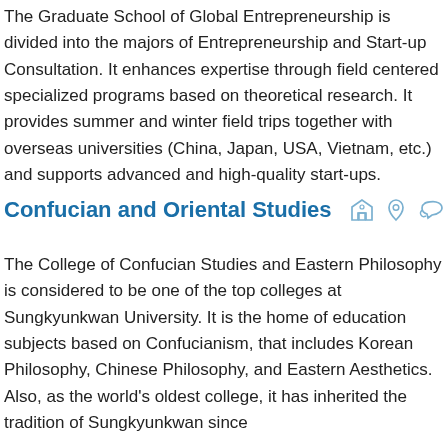The Graduate School of Global Entrepreneurship is divided into the majors of Entrepreneurship and Start-up Consultation. It enhances expertise through field centered specialized programs based on theoretical research. It provides summer and winter field trips together with overseas universities (China, Japan, USA, Vietnam, etc.) and supports advanced and high-quality start-ups.
Confucian and Oriental Studies
The College of Confucian Studies and Eastern Philosophy is considered to be one of the top colleges at Sungkyunkwan University. It is the home of education subjects based on Confucianism, that includes Korean Philosophy, Chinese Philosophy, and Eastern Aesthetics. Also, as the world's oldest college, it has inherited the tradition of Sungkyunkwan since